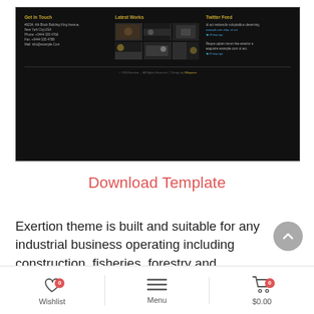[Figure (screenshot): Website footer screenshot showing dark background with three columns: 'Get In Touch' address/phone/fax/email info, 'Latest Works' image grid of 6 industrial photos, 'Twitter Feed' with tweet text and links. Bottom has copyright bar: '© 2016 Exertion - All Rights Reserved | Design by Wilayouts']
Download Template
Exertion theme is built and suitable for any industrial business operating including construction, fisheries, forestry and manufacturing company websites. It is specially designed for all types of manufacturing industries, factories, engineering, commodity business, oil and gas business, petroleum refinery business, power and energy,
Wishlist  0   Menu   $0.00  0